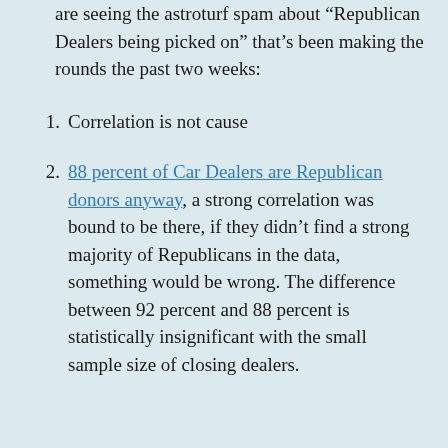are seeing the astroturf spam about “Republican Dealers being picked on” that’s been making the rounds the past two weeks:
1. Correlation is not cause
2. 88 percent of Car Dealers are Republican donors anyway, a strong correlation was bound to be there, if they didn’t find a strong majority of Republicans in the data, something would be wrong. The difference between 92 percent and 88 percent is statistically insignificant with the small sample size of closing dealers.